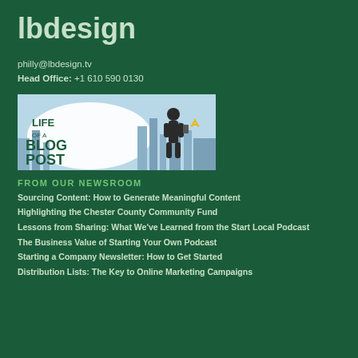lbdesign
philly@lbdesign.tv
Head Office: +1 610 590 0130
[Figure (illustration): Banner image with text 'Life of a Blog Post' showing a silhouette of a person holding a mobile phone with wifi signal, city skyline in the background.]
FROM OUR NEWSROOM
Sourcing Content: How to Generate Meaningful Content
Highlighting the Chester County Community Fund
Lessons from Sharing: What We've Learned from the Start Local Podcast
The Business Value of Starting Your Own Podcast
Starting a Company Newsletter: How to Get Started
Distribution Lists: The Key to Online Marketing Campaigns